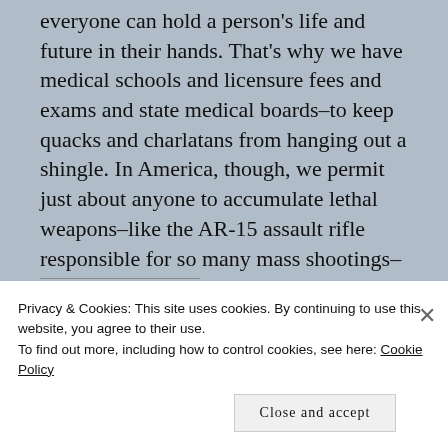everyone can hold a person's life and future in their hands. That's why we have medical schools and licensure fees and exams and state medical boards–to keep quacks and charlatans from hanging out a shingle. In America, though, we permit just about anyone to accumulate lethal weapons–like the AR-15 assault rifle responsible for so many mass shootings–with the power to end many people's lives.
SHARE THIS:
Privacy & Cookies: This site uses cookies. By continuing to use this website, you agree to their use.
To find out more, including how to control cookies, see here: Cookie Policy